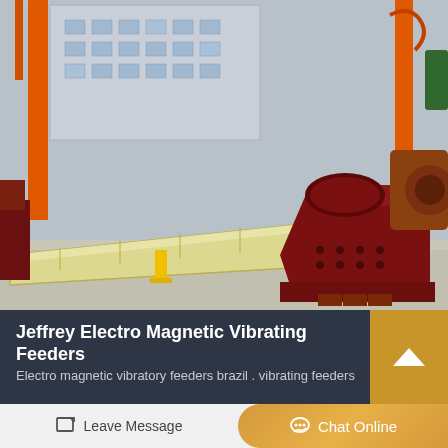[Figure (photo): Industrial electromagnetic vibrating feeder equipment in a factory yard. Large elongated cream/yellow trough conveyor with dark red/maroon drive unit. Orange overhead crane structures visible in background with factory building. Equipment sits on concrete ground.]
Jeffrey Electro Magnetic Vibrating Feeders
Electro magnetic vibratory feeders brazil . vibrating feeders
Leave Message
Chat Online